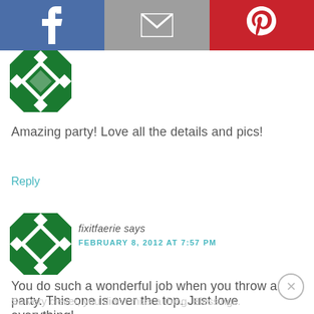[Figure (screenshot): Social share bar with Facebook (blue), Email (gray), and Pinterest (red) buttons]
[Figure (illustration): Green geometric patterned avatar for first commenter]
Amazing party! Love all the details and pics!
Reply
[Figure (illustration): Green geometric patterned avatar for fixitfaerie]
fixitfaerie says
FEBRUARY 8, 2012 AT 7:57 PM
You do such a wonderful job when you throw a party. This one is over the top. Just love everything!
So very clever, you didn't miss a thing. Blessings.